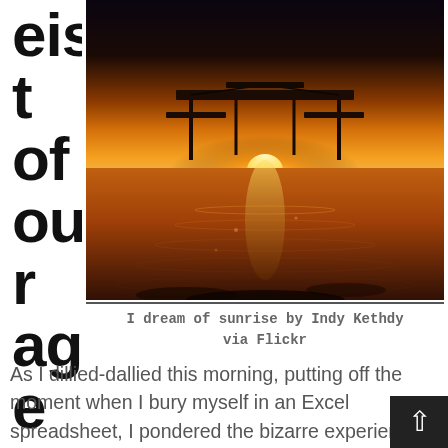eistourage
[Figure (photo): Sunset over water with a wooden dock/picnic table silhouette, warm orange and golden tones reflecting on the water surface]
I dream of sunrise by Indy Kethdy via Flickr
As I dillied-dallied this morning, putting off the moment when I bury myself in an Excel spreadsheet, I pondered the bizarre experience of academics, like myself, teaching management in a classroom, and checked out the twitter chatter on the new crowd sourcing website being offered by government.